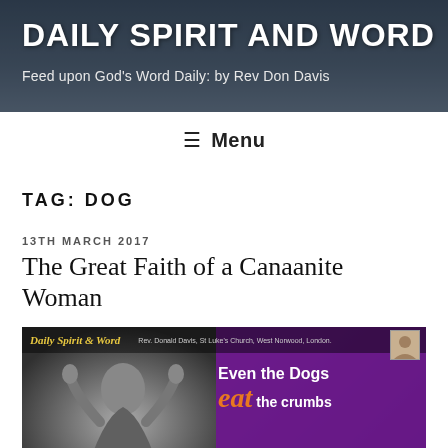DAILY SPIRIT AND WORD
Feed upon God's Word Daily: by Rev Don Davis
☰ Menu
TAG: DOG
13TH MARCH 2017
The Great Faith of a Canaanite Woman
[Figure (illustration): Blog article thumbnail image. Left half shows a woman with hands raised looking upward (black and white/grey). Right half is purple background with text 'Even the Dogs eat the crumbs' and smaller text below. Top bar reads 'Daily Spirit & Word' in gold italic. Small portrait photo top right corner.]